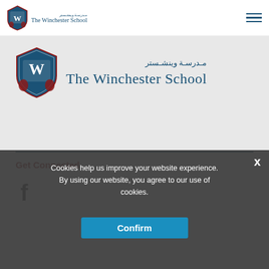[Figure (logo): The Winchester School navbar logo with Arabic text and shield emblem]
[Figure (logo): The Winchester School large logo with shield crest, Arabic and English text]
Get Connected
[Figure (other): Facebook icon (f)]
Cookies help us improve your website experience. By using our website, you agree to our use of cookies.
Confirm